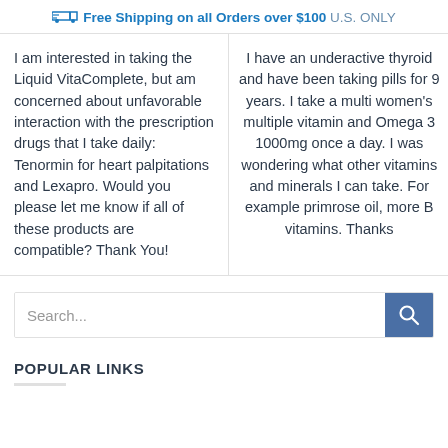Free Shipping on all Orders over $100 U.S. ONLY
I am interested in taking the Liquid VitaComplete, but am concerned about unfavorable interaction with the prescription drugs that I take daily: Tenormin for heart palpitations and Lexapro. Would you please let me know if all of these products are compatible? Thank You!
I have an underactive thyroid and have been taking pills for 9 years. I take a multi women's multiple vitamin and Omega 3 1000mg once a day. I was wondering what other vitamins and minerals I can take. For example primrose oil, more B vitamins. Thanks
Search...
POPULAR LINKS